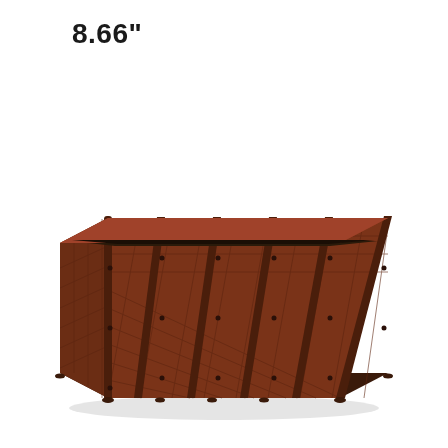8.66"
[Figure (photo): A long rectangular raised garden bed planter box made of dark brown plastic with a wicker/lattice pattern texture. The planter is shown in a 3D perspective view, revealing the top opening filled with dark soil. The planter has multiple vertical dividers along its length, giving it a segmented appearance, and small feet at the base corners.]